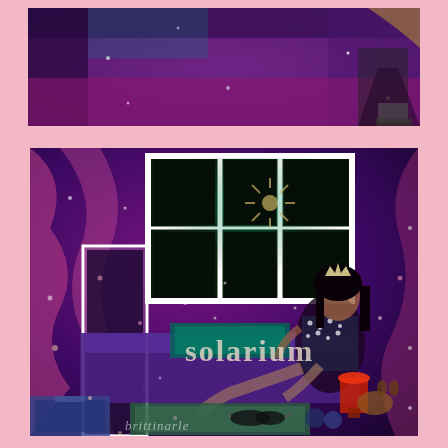[Figure (photo): Top cropped photo showing a purple/magenta toned room interior with decorative elements, partial view of a person's legs and platform shoes visible at top right]
[Figure (photo): Main photo of a young woman wearing a polka dot dress and tiara, sitting in a decorated room with sparkle bokeh effects, fairy lights, pink and purple draping fabric, a window with dark glass panes, a red lamp, sunglasses, and a small dog. Text overlay reads 'solarium' in serif font. Handwritten signature/watermark at the bottom reads 'brittinarle' or similar.]